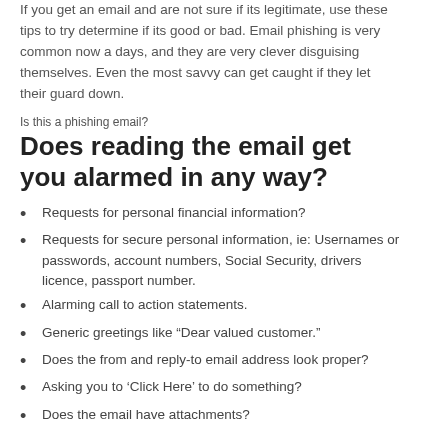If you get an email and are not sure if its legitimate, use these tips to try determine if its good or bad. Email phishing is very common now a days, and they are very clever disguising themselves. Even the most savvy can get caught if they let their guard down.
Is this a phishing email?
Does reading the email get you alarmed in any way?
Requests for personal financial information?
Requests for secure personal information, ie: Usernames or passwords, account numbers, Social Security, drivers licence, passport number.
Alarming call to action statements.
Generic greetings like “Dear valued customer.”
Does the from and reply-to email address look proper?
Asking you to ‘Click Here’ to do something?
Does the email have attachments?